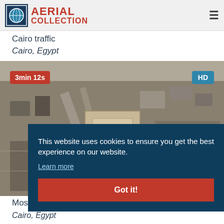AERIAL COLLECTION
Cairo traffic
Cairo, Egypt
[Figure (photo): Aerial view of Cairo city with buildings and roads, showing traffic. Overlaid with a red badge '3min 12s' and a blue badge 'HD'.]
This website uses cookies to ensure you get the best experience on our website. Learn more
Got it!
Mos
Cairo, Egypt